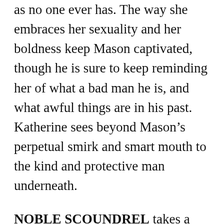as no one ever has.  The way she embraces her sexuality and her boldness keep Mason captivated, though he is sure to keep reminding her of what a bad man he is, and what awful things are in his past.  Katherine sees beyond Mason's perpetual smirk and smart mouth to the kind and protective man underneath.
NOBLE SCOUNDREL takes a realistic look at love between the classes.  There is no fairytale ending here where Mason discovers he's of noble birth or a secret heir, and I love reading this type of story.  (Though, make no mistake, I love the fairytales, as well.)  If their love turns out to be